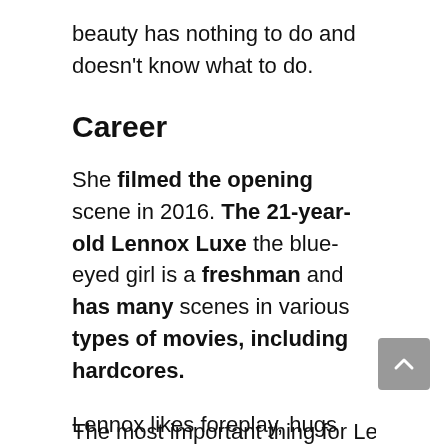beauty has nothing to do and doesn't know what to do.
Career
She filmed the opening scene in 2016. The 21-year-old Lennox Luxe the blue-eyed girl is a freshman and has many scenes in various types of movies, including hardcores.
Lennox likes foreplay, hugs and kisses. Lennox also likes to sucking and pinching role,
The most important thing for Lennox is that